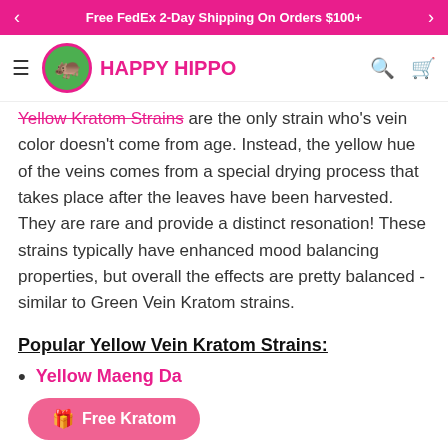Free FedEx 2-Day Shipping On Orders $100+
[Figure (logo): Happy Hippo logo with hamburger menu, circular hippo icon, brand name in pink, search and cart icons]
Yellow Kratom Strains are the only strain who's vein color doesn't come from age. Instead, the yellow hue of the veins comes from a special drying process that takes place after the leaves have been harvested. They are rare and provide a distinct resonation! These strains typically have enhanced mood balancing properties, but overall the effects are pretty balanced - similar to Green Vein Kratom strains.
Popular Yellow Vein Kratom Strains:
Yellow Maeng Da
Free Kratom